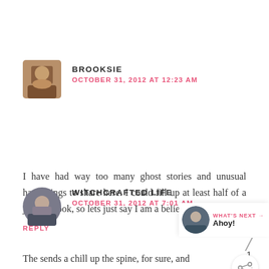[Figure (photo): Avatar photo of Brooksie, square with rounded corners]
BROOKSIE
OCTOBER 31, 2012 AT 12:23 AM
I have had way too many ghost stories and unusual happenings to share here. I could fill up at least half of a journal book, so lets just say I am a believer.
REPLY
[Figure (photo): Avatar photo of Witchcrafted Life, circle]
WITCHCRAFTED LIFE
OCTOBER 31, 2012 AT 7:01 AM
The sends a chill up the spine, for sure, and
[Figure (photo): What's Next panel with avatar and label 'Ahoy!']